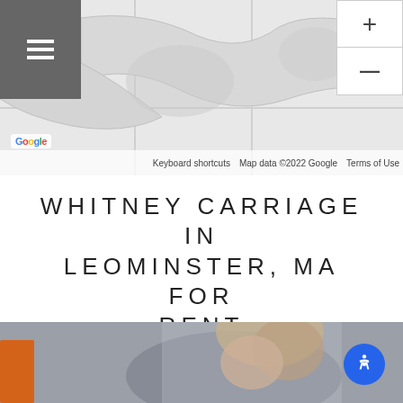[Figure (screenshot): Google Maps screenshot showing a street/area map with zoom controls (+/-) on the right, a hamburger menu icon on the top left, Google logo on the bottom left, and map attribution footer reading 'Keyboard shortcuts | Map data ©2022 Google | Terms of Use']
WHITNEY CARRIAGE IN LEOMINSTER, MA FOR RENT
Whitney Carriage Park in Leominster is ideally situated to give you easy access to the best of what the area has to offer. Browse the categories for local services and attractions near you.
[Figure (photo): Bottom partial photo showing a woman with hair up, blurred background, and a partial view of an orange object on the left edge]